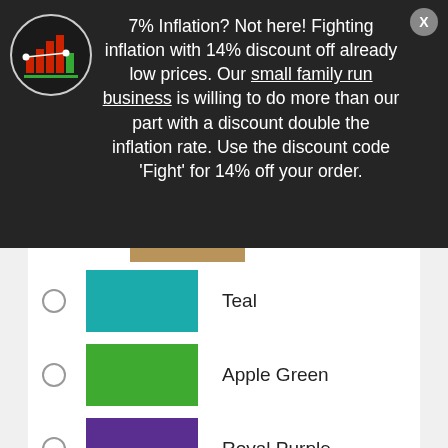7% Inflation? Not here! Fighting inflation with 14% discount off already low prices. Our small family run business is willing to do more than our part with a discount double the inflation rate. Use the discount code 'Fight' for 14% off your order.
Teal
Apple Green
Royal Purple
Yellow